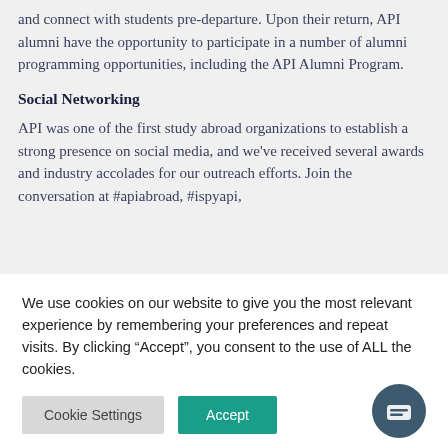and connect with students pre-departure. Upon their return, API alumni have the opportunity to participate in a number of alumni programming opportunities, including the API Alumni Program.
Social Networking
API was one of the first study abroad organizations to establish a strong presence on social media, and we've received several awards and industry accolades for our outreach efforts. Join the conversation at #apiabroad, #ispyapi,
We use cookies on our website to give you the most relevant experience by remembering your preferences and repeat visits. By clicking “Accept”, you consent to the use of ALL the cookies.